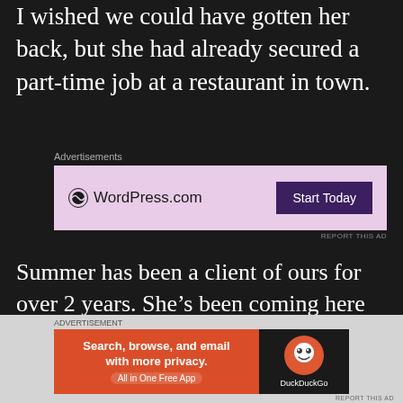I wished we could have gotten her back, but she had already secured a part-time job at a restaurant in town.
Advertisements
[Figure (screenshot): WordPress.com advertisement banner with pink background, WordPress logo on left and 'Start Today' button on right]
REPORT THIS AD
Summer has been a client of ours for over 2 years. She’s been coming here to tan since she was a freshman at Temple. Achilles suggested that we approach her to work here for the busy season. To me she was just another girl who came in here and did spray and UV tanning, but
ADVERTISEMENT
[Figure (screenshot): DuckDuckGo advertisement banner: orange left section with 'Search, browse, and email with more privacy. All in One Free App' and dark right section with DuckDuckGo logo]
REPORT THIS AD